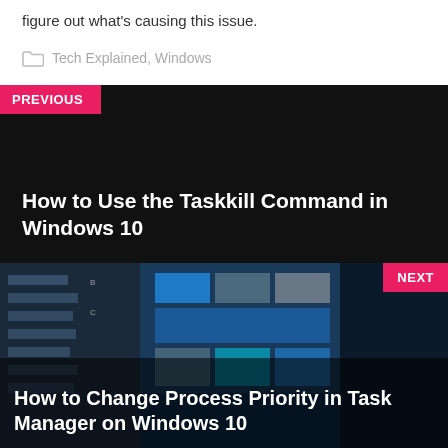figure out what's causing this issue.
Tech Explained, Windows
How to Use the Taskkill Command in Windows 10
How to Change Process Priority in Task Manager on Windows 10